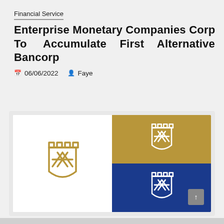Financial Service
Enterprise Monetary Companies Corp To Accumulate First Alternative Bancorp
📅 06/06/2022   👤 Faye
[Figure (logo): Bank or financial institution shield/castle logo shown in three variants: on white background (gold), on gold background (white), and on blue background (white). A scroll-to-top button is visible in the bottom-right corner.]